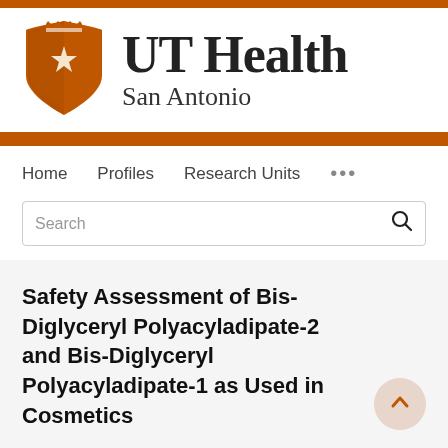[Figure (logo): UT Health San Antonio logo with orange shield bearing a star and the text 'UT Health San Antonio']
Home   Profiles   Research Units   ...
Safety Assessment of Bis-Diglyceryl Polyacyladipate-2 and Bis-Diglyceryl Polyacyladipate-1 as Used in Cosmetics